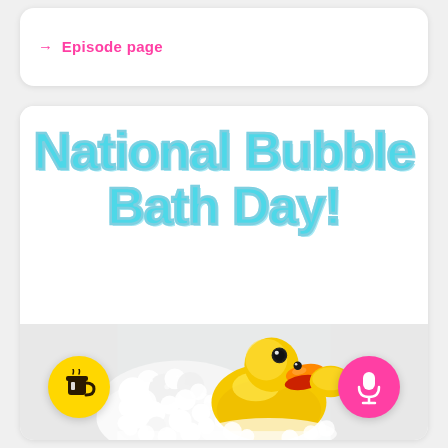→ Episode page
National Bubble Bath Day!
[Figure (photo): Rubber yellow duck toy sitting among white soap bubbles/foam in a bathtub, with a yellow coffee cup icon bottom-left and a pink microphone icon bottom-right]